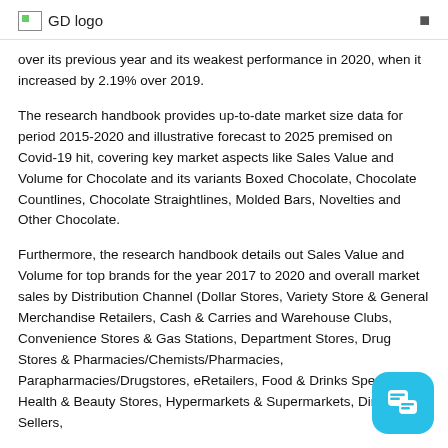GD logo
over its previous year and its weakest performance in 2020, when it increased by 2.19% over 2019.
The research handbook provides up-to-date market size data for period 2015-2020 and illustrative forecast to 2025 premised on Covid-19 hit, covering key market aspects like Sales Value and Volume for Chocolate and its variants Boxed Chocolate, Chocolate Countlines, Chocolate Straightlines, Molded Bars, Novelties and Other Chocolate.
Furthermore, the research handbook details out Sales Value and Volume for top brands for the year 2017 to 2020 and overall market sales by Distribution Channel (Dollar Stores, Variety Store & General Merchandise Retailers, Cash & Carries and Warehouse Clubs, Convenience Stores & Gas Stations, Department Stores, Drug Stores & Pharmacies/Chemists/Pharmacies, Parapharmacies/Drugstores, eRetailers, Food & Drinks Specialists, Health & Beauty Stores, Hypermarkets & Supermarkets, Direct Sellers,